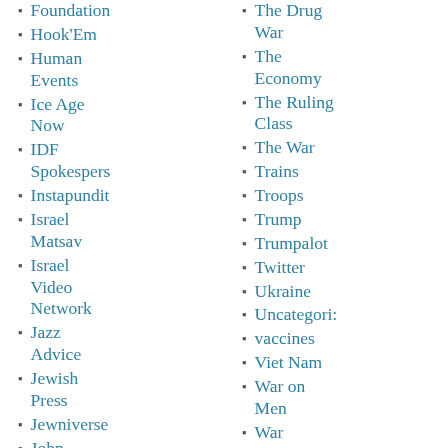Foundation
Hook'Em
Human Events
Ice Age Now
IDF Spokespers
Instapundit
Israel Matsav
Israel Video Network
Jazz Advice
Jewish Press
Jewniverse
John Wilkes
The Drug War
The Economy
The Ruling Class
The War
Trains
Troops
Trump
Trumpalot
Twitter
Ukraine
Uncategori:
vaccines
Viet Nam
War on Men
War With